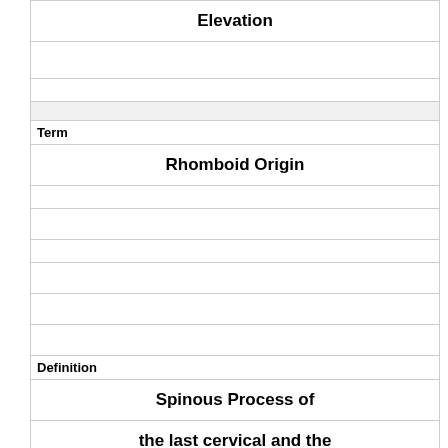| Elevation |
|  |
|  |
|  |
| Term |
| Rhomboid Origin |
|  |
|  |
|  |
|  |
|  |
|  |
| Definition |
| Spinous Process of |
| the last cervical and the |
| first 5 thoracic vertebrae |
|  |